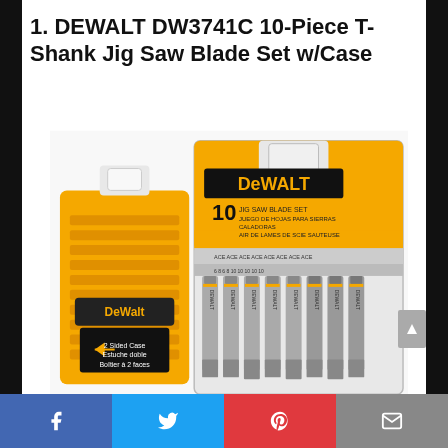1. DEWALT DW3741C 10-Piece T-Shank Jig Saw Blade Set w/Case
[Figure (photo): Product photo of DEWALT DW3741C 10-Piece T-Shank Jig Saw Blade Set with yellow storage case and blister pack showing 10 jig saw blades and the DEWALT logo]
Social sharing bar with Facebook, Twitter, Pinterest, and Email icons